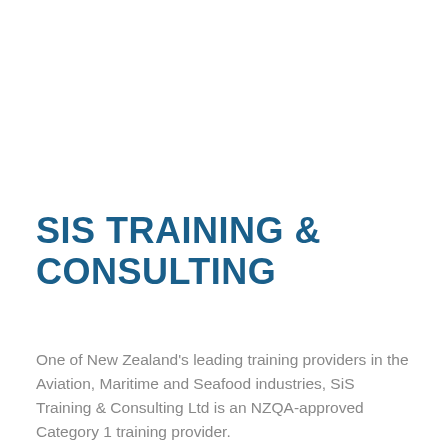SIS TRAINING & CONSULTING
One of New Zealand's leading training providers in the Aviation, Maritime and Seafood industries, SiS Training & Consulting Ltd is an NZQA-approved Category 1 training provider.